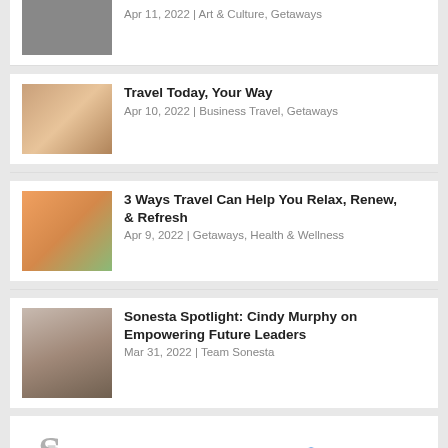Apr 11, 2022 | Art & Culture, Getaways
Travel Today, Your Way
Apr 10, 2022 | Business Travel, Getaways
3 Ways Travel Can Help You Relax, Renew, & Refresh
Apr 9, 2022 | Getaways, Health & Wellness
Sonesta Spotlight: Cindy Murphy on Empowering Future Leaders
Mar 31, 2022 | Team Sonesta
SONESTAHOTELS  2,068  5,639
What drives your passion for travel? Tag @SonestaHotels when you #StaySonesta to be featured!
[Figure (photo): Bottom image strip showing teal/green toned outdoor scene]